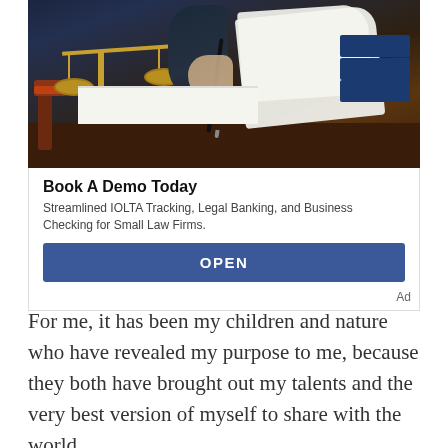[Figure (photo): Photo of a lawyer or legal professional signing a document at a desk, with brass scales of justice and a gavel visible, along with stacked blue books in the background.]
Book A Demo Today
Streamlined IOLTA Tracking, Legal Banking, and Business Checking for Small Law Firms.
OPEN
Ad
For me, it has been my children and nature who have revealed my purpose to me, because they both have brought out my talents and the very best version of myself to share with the world.